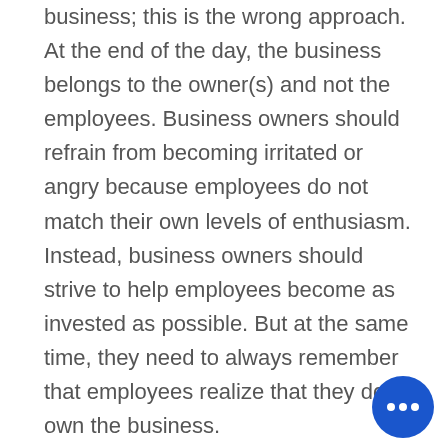business; this is the wrong approach. At the end of the day, the business belongs to the owner(s) and not the employees. Business owners should refrain from becoming irritated or angry because employees do not match their own levels of enthusiasm. Instead, business owners should strive to help employees become as invested as possible. But at the same time, they need to always remember that employees realize that they don't own the business.

Every business is different, and what it takes to create happy employees, of course, varies. Determining the best way to facilitate employee happiness is a prudent step. Take